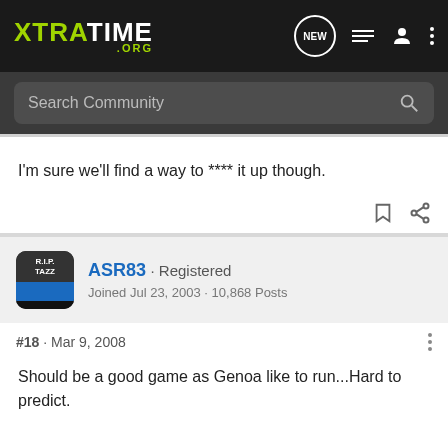XTRATIME .ORG
Search Community
I'm sure we'll find a way to **** it up though.
ASR83 · Registered
Joined Jul 23, 2003 · 10,868 Posts
#18 · Mar 9, 2008
Should be a good game as Genoa like to run...Hard to predict.